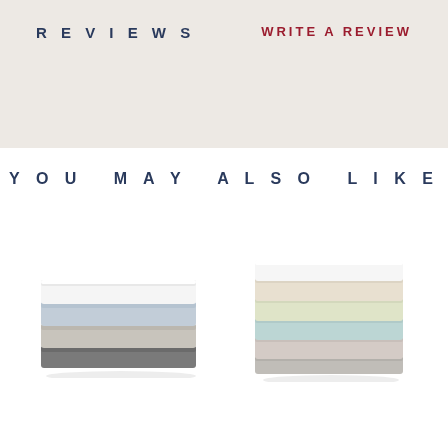REVIEWS
WRITE A REVIEW
YOU MAY ALSO LIKE
[Figure (photo): Stack of folded bed sheets in white, light blue, light gray, and dark gray colors]
[Figure (photo): Stack of folded bed sheets in multiple colors: white, cream, light yellow, light blue, light pink, and gray]